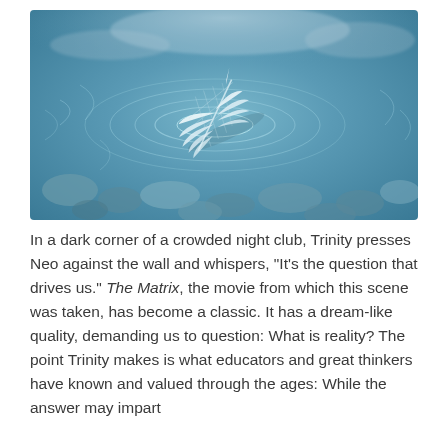[Figure (photo): A white feather floating on rippling blue water with smooth pebbles visible underneath. The water surface shows circular ripple patterns around the feather.]
In a dark corner of a crowded night club, Trinity presses Neo against the wall and whispers, "It's the question that drives us." The Matrix, the movie from which this scene was taken, has become a classic. It has a dream-like quality, demanding us to question: What is reality? The point Trinity makes is what educators and great thinkers have known and valued through the ages: While the answer may impart